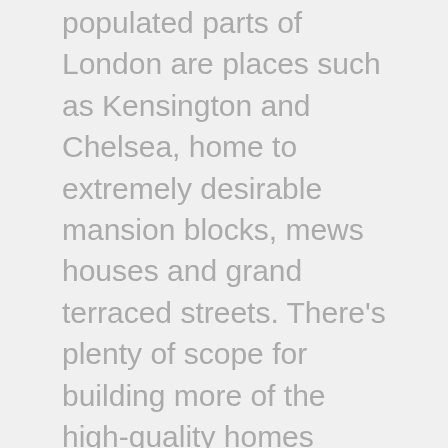populated parts of London are places such as Kensington and Chelsea, home to extremely desirable mansion blocks, mews houses and grand terraced streets. There's plenty of scope for building more of the high-quality homes people want to live in, in places where they want to live. We just have to be more imaginative.
Look at your railway station. The chances are it's in a built-up area where demand for housing is high, yet it's also quite likely to be surrounded by under-used or derelict land that would be perfect for housing.
Maybe that's warehouses that could be better situated elsewhere, or car parks that could be moved underground. Elsewhere, buildings could be extended upwards by a